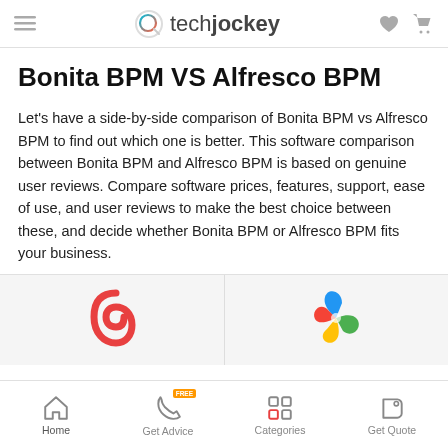techjockey
Bonita BPM VS Alfresco BPM
Let's have a side-by-side comparison of Bonita BPM vs Alfresco BPM to find out which one is better. This software comparison between Bonita BPM and Alfresco BPM is based on genuine user reviews. Compare software prices, features, support, ease of use, and user reviews to make the best choice between these, and decide whether Bonita BPM or Alfresco BPM fits your business.
[Figure (logo): Bonita BPM logo - red/pink stylized 'b' character]
[Figure (logo): Alfresco BPM logo - colorful pinwheel/flower shape in blue, green, yellow, red]
Home | Get Advice | Categories | Get Quote